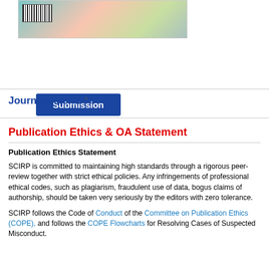[Figure (photo): Thumbnail image of journal cover with barcode in top-left corner, colorful abstract background]
Submission
Journals Menu ˅
Publication Ethics & OA Statement
Publication Ethics Statement
SCIRP is committed to maintaining high standards through a rigorous peer-review together with strict ethical policies. Any infringements of professional ethical codes, such as plagiarism, fraudulent use of data, bogus claims of authorship, should be taken very seriously by the editors with zero tolerance.
SCIRP follows the Code of Conduct of the Committee on Publication Ethics (COPE), and follows the COPE Flowcharts for Resolving Cases of Suspected Misconduct.